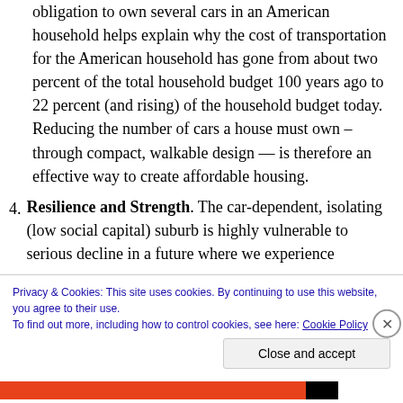obligation to own several cars in an American household helps explain why the cost of transportation for the American household has gone from about two percent of the total household budget 100 years ago to 22 percent (and rising) of the household budget today. Reducing the number of cars a house must own – through compact, walkable design — is therefore an effective way to create affordable housing.
4. Resilience and Strength. The car-dependent, isolating (low social capital) suburb is highly vulnerable to serious decline in a future where we experience
Privacy & Cookies: This site uses cookies. By continuing to use this website, you agree to their use. To find out more, including how to control cookies, see here: Cookie Policy